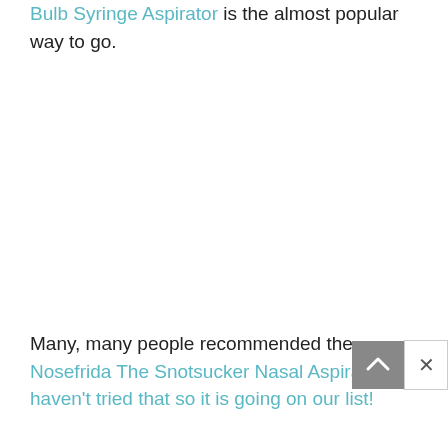The Bulb Syringe Aspirator is the almost popular way to go.
Many, many people recommended the Nosefrida The Snotsucker Nasal Aspirator. I haven't tried that so it is going on our list!